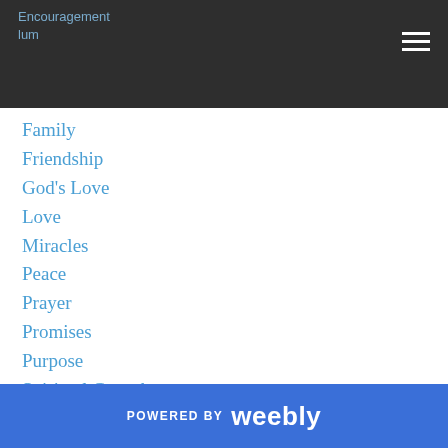Encouragement
lum
Family
Friendship
God's Love
Love
Miracles
Peace
Prayer
Promises
Purpose
Spiritual Growth
Time
Trust
RSS Feed
POWERED BY weebly